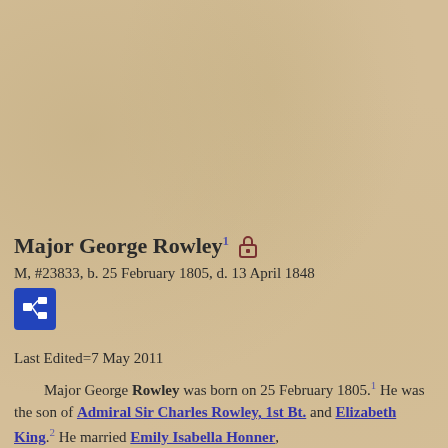Major George Rowley¹ [lock icon]
M, #23833, b. 25 February 1805, d. 13 April 1848
Last Edited=7 May 2011
Major George Rowley was born on 25 February 1805.¹ He was the son of Admiral Sir Charles Rowley, 1st Bt. and Elizabeth King.² He married Emily Isabella Honner,